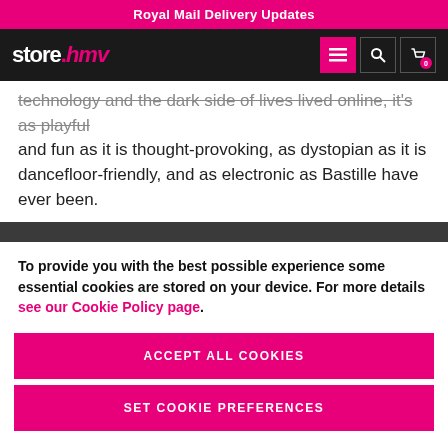Royal Mail Delivery Updates
store.hmv
technology and the dark side of lives lived online, it's as playful and fun as it is thought-provoking, as dystopian as it is dancefloor-friendly, and as electronic as Bastille have ever been.
To provide you with the best possible experience some essential cookies are stored on your device. For more details see our Cookie Policy page.
ACCEPT ALL COOKIES
SET COOKIE PREFERENCES